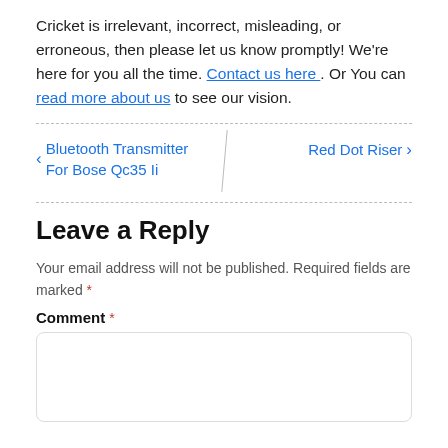Cricket is irrelevant, incorrect, misleading, or erroneous, then please let us know promptly! We're here for you all the time. Contact us here . Or You can read more about us to see our vision.
< Bluetooth Transmitter For Bose Qc35 Ii    Red Dot Riser >
Leave a Reply
Your email address will not be published. Required fields are marked *
Comment *